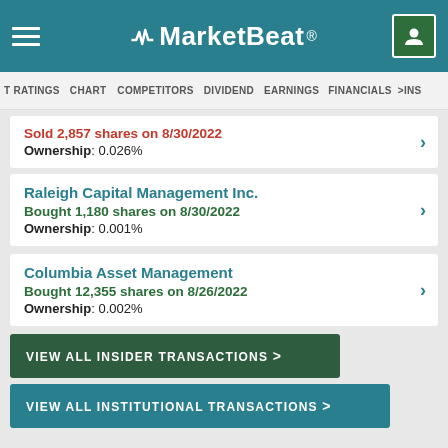MarketBeat
T RATINGS  CHART  COMPETITORS  DIVIDEND  EARNINGS  FINANCIALS  >INS
Sold 2,857 shares on 8/30/2022
Ownership: 0.026%
Raleigh Capital Management Inc.
Bought 1,180 shares on 8/30/2022
Ownership: 0.001%
Columbia Asset Management
Bought 12,355 shares on 8/26/2022
Ownership: 0.002%
VIEW ALL INSIDER TRANSACTIONS >
VIEW ALL INSTITUTIONAL TRANSACTIONS >